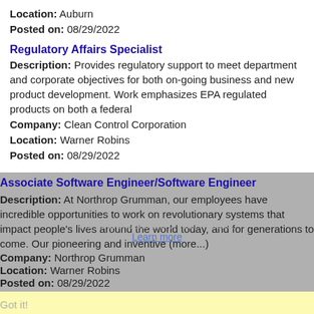Location: Auburn
Posted on: 08/29/2022
Regulatory Affairs Specialist
Description: Provides regulatory support to meet department and corporate objectives for both on-going business and new product development. Work emphasizes EPA regulated products on both a federal
Company: Clean Control Corporation
Location: Warner Robins
Posted on: 08/29/2022
Associate Software Engineer/Software Engineer
Description: At Northrop Grumman, our employees have incredible opportunities to work on revolutionary systems that impact people's lives around the world today, and for generations to come. Our pioneering and inventive (more...)
Company: Northrop Grumman
Location: Warner Robins
Posted on: 08/29/2022
the best experience on our website.
Learn more
Got it!
Salary in Columbus, Georgia Area | More details for Columbus, Georgia Jobs |Salary